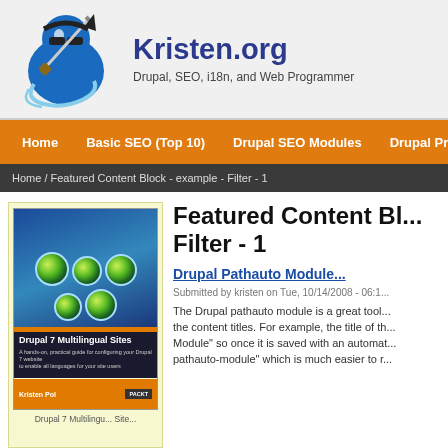Kristen.org — Drupal, SEO, i18n, and Web Programmer
Home | Basic SEO (Top 10) | Drupal SEO Modules | Drupal Prog
Home / Featured Content Block - example - Filter - 1
[Figure (illustration): Book cover: Drupal 7 Multilingual Sites by Kristen Pol, Packt Publishing. Blue cover with globe imagery and orange stripe/footer.]
Drupal 7 Multilingu... Site...
Featured Content Block - Filter - 1
Drupal Pathauto Module...
Submitted by kristen on Tue, 10/14/2008 - 06:1...
The Drupal pathauto module is a great tool... the content titles. For example, the title of th... Module" so once it is saved with an automat... pathauto-module" which is much easier to r...